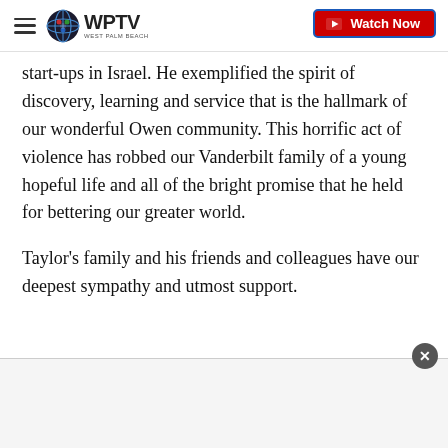WPTV West Palm Beach — Watch Now
start-ups in Israel. He exemplified the spirit of discovery, learning and service that is the hallmark of our wonderful Owen community. This horrific act of violence has robbed our Vanderbilt family of a young hopeful life and all of the bright promise that he held for bettering our greater world.
Taylor's family and his friends and colleagues have our deepest sympathy and utmost support.
[Figure (other): Advertisement placeholder area at the bottom of the page with a close (X) button]